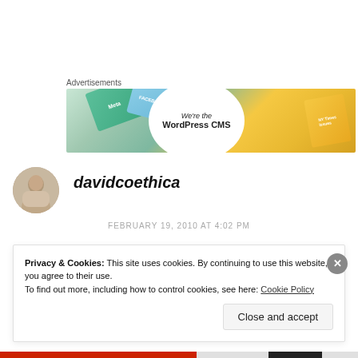Advertisements
[Figure (illustration): Advertisement banner with colorful overlapping tiles showing Meta and FACEBOOK text, with a white oval containing text 'We're the WordPress CMS']
davidcoethica
FEBRUARY 19, 2010 AT 4:02 PM
Privacy & Cookies: This site uses cookies. By continuing to use this website, you agree to their use.
To find out more, including how to control cookies, see here: Cookie Policy
Close and accept